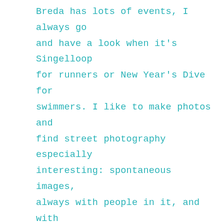Breda has lots of events, I always go and have a look when it's Singelloop for runners or New Year's Dive for swimmers. I like to make photos and find street photography especially interesting: spontaneous images, always with people in it, and with something happening.
When I went to the Wilhelmina Park's large pond on New Year's Day 2011, I had my camera with me. I wouldn't ever jump in that cold water myself, but I'm much enjoying the fact that there are people who do.
But this time I wanted the readers to...